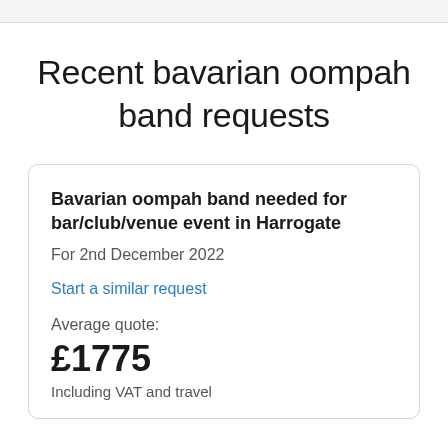Recent bavarian oompah band requests
Bavarian oompah band needed for bar/club/venue event in Harrogate
For 2nd December 2022
Start a similar request
Average quote:
£1775
Including VAT and travel